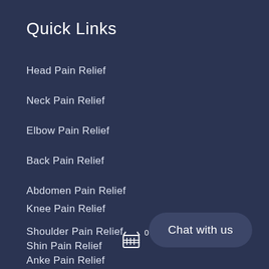Quick Links
Head Pain Relief
Neck Pain Relief
Elbow Pain Relief
Back Pain Relief
Abdomen Pain Relief
Knee Pain Relief
Shoulder Pain Relief
Shin Pain Relief
Anke Pain Relief
Chat with us
[Figure (illustration): Shopping cart icon with badge showing 0]